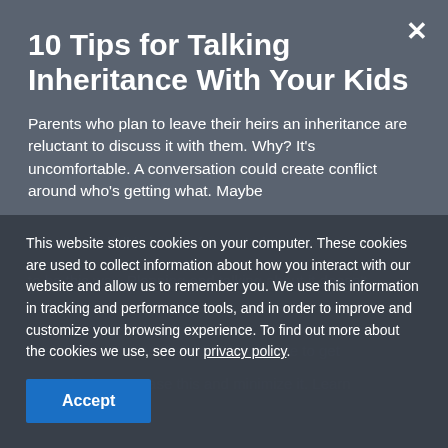10 Tips for Talking Inheritance With Your Kids
Parents who plan to leave their heirs an inheritance are reluctant to discuss it with them. Why? It's uncomfortable. A conversation could create conflict around who's getting what. Maybe
This website stores cookies on your computer. These cookies are used to collect information about how you interact with our website and allow us to remember you. We use this information in tracking and performance tools, and in order to improve and customize your browsing experience. To find out more about the cookies we use, see our privacy policy.
Accept